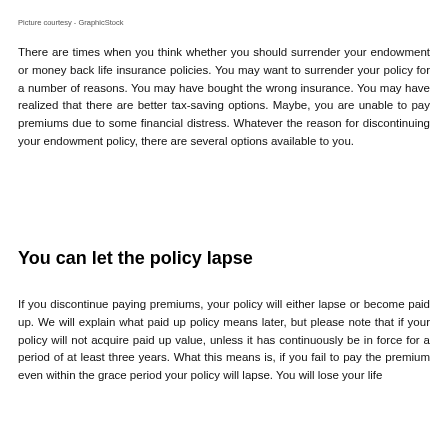Picture courtesy - GraphicStock
There are times when you think whether you should surrender your endowment or money back life insurance policies. You may want to surrender your policy for a number of reasons. You may have bought the wrong insurance. You may have realized that there are better tax-saving options. Maybe, you are unable to pay premiums due to some financial distress. Whatever the reason for discontinuing your endowment policy, there are several options available to you.
You can let the policy lapse
If you discontinue paying premiums, your policy will either lapse or become paid up. We will explain what paid up policy means later, but please note that if your policy will not acquire paid up value, unless it has continuously be in force for a period of at least three years. What this means is, if you fail to pay the premium even within the grace period your policy will lapse. You will lose your life